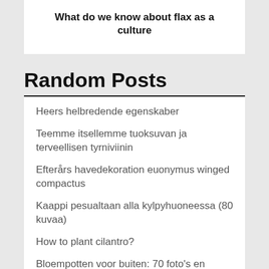What do we know about flax as a culture
Random Posts
Heers helbredende egenskaber
Teemme itsellemme tuoksuvan ja terveellisen tyrniviinin
Efterårs havedekoration euonymus winged compactus
Kaappi pesualtaan alla kylpyhuoneessa (80 kuvaa)
How to plant cilantro?
Bloempotten voor buiten: 70 foto's en ideeën